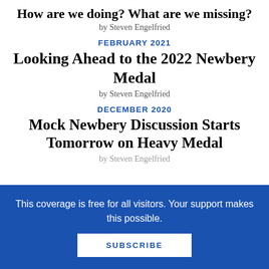How are we doing? What are we missing?
by Steven Engelfried
FEBRUARY 2021
Looking Ahead to the 2022 Newbery Medal
by Steven Engelfried
DECEMBER 2020
Mock Newbery Discussion Starts Tomorrow on Heavy Medal
by Steven Engelfried
This coverage is free for all visitors. Your support makes this possible.
SUBSCRIBE